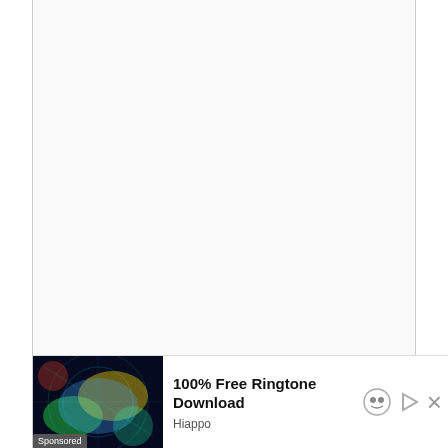RECENT POSTS
[Figure (photo): Thumbnail photo of Les Deux Magots cafe in Paris, showing green awning and outdoor seating]
Visiting Les Deux Magots, Hemingway's Favorite Paris Cafe
[Figure (photo): Advertisement banner with colorful digital/tech imagery. Text: 100% Free Ringtone Download. Hiappo. Sponsored.]